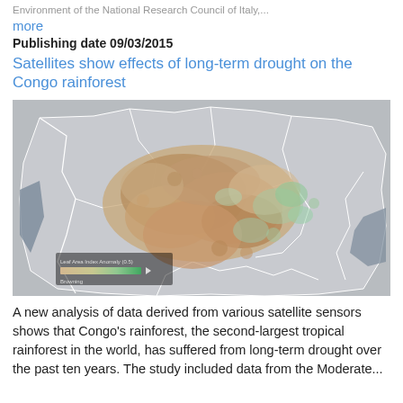Environment of the National Research Council of Italy...
more
Publishing date 09/03/2015
Satellites show effects of long-term drought on the Congo rainforest
[Figure (map): Satellite vegetation index map of the Congo rainforest region showing drought effects. The map displays central Africa with country borders outlined in gray. A large cluster of tan/brown and light green patches in the center represents areas of vegetation stress over the Congo Basin. A legend bar in the lower left shows a scale from beige/tan to green labeled 'Anomaly'.]
A new analysis of data derived from various satellite sensors shows that Congo's rainforest, the second-largest tropical rainforest in the world, has suffered from long-term drought over the past ten years. The study included data from the Moderate...